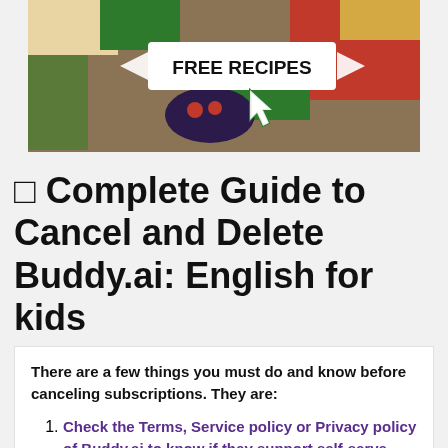[Figure (photo): A food banner image showing vegetables, tomatoes, olive oil, berries, and pasta with a white overlay badge reading 'FREE RECIPES' with arrow icons and a cursor icon pointing to it.]
☐ Complete Guide to Cancel and Delete Buddy.ai: English for kids
There are a few things you must do and know before canceling subscriptions. They are:
Check the Terms, Service policy or Privacy policy of Buddy.ai to know if they support self-serve subscription cancellation or account deletion;